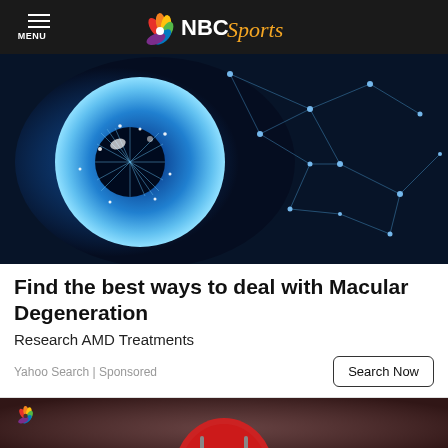NBC Sports
[Figure (photo): Close-up of a human eye with digital network/constellation overlay on dark blue background, representing macular degeneration or eye technology]
Find the best ways to deal with Macular Degeneration
Research AMD Treatments
Yahoo Search | Sponsored
Search Now
[Figure (photo): Hockey goalie wearing a Montreal Canadiens mask, partially visible at bottom of page, with NBC Sports peacock logo overlay]